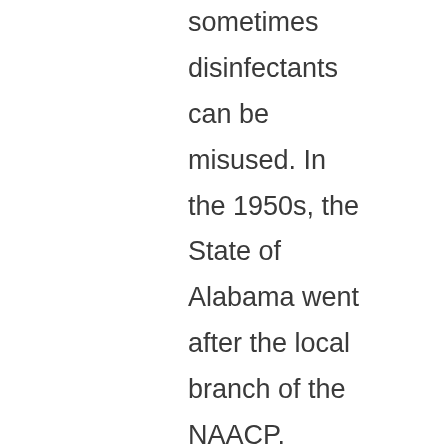sometimes disinfectants can be misused. In the 1950s, the State of Alabama went after the local branch of the NAACP. Among other things, Alabama wanted a list of the members of the NAACP in Alabama.